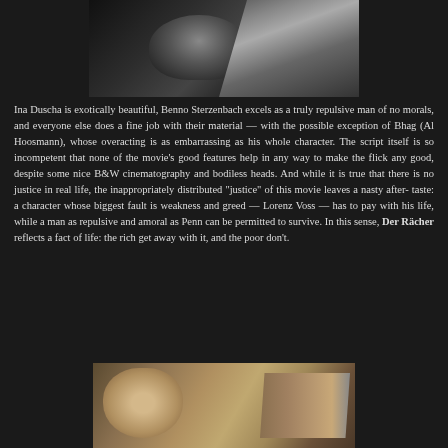[Figure (photo): Black and white film still showing a person lying back, dramatic lighting, from the movie Der Rächer]
Ina Duscha is exotically beautiful, Benno Sterzenbach excels as a truly repulsive man of no morals, and everyone else does a fine job with their material — with the possible exception of Bhag (Al Hoosmann), whose overacting is as embarrassing as his whole character. The script itself is so incompetent that none of the movie's good features help in any way to make the flick any good, despite some nice B&W cinematography and bodiless heads. And while it is true that there is no justice in real life, the inappropriately distributed "justice" of this movie leaves a nasty after-taste: a character whose biggest fault is weakness and greed — Lorenz Voss — has to pay with his life, while a man as repulsive and amoral as Penn can be permitted to survive. In this sense, Der Rächer reflects a fact of life: the rich get away with it, and the poor don't.
[Figure (photo): Sepia-toned film still showing figures near water with a bench visible, from the movie Der Rächer]